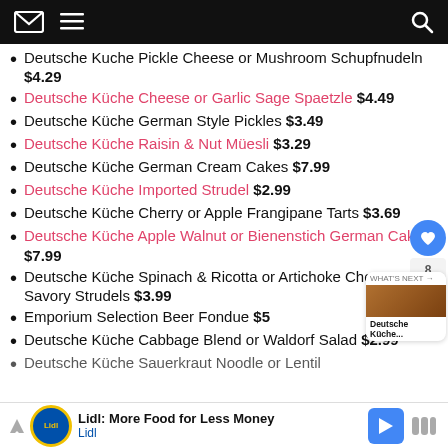Navigation header with email, menu, and search icons
Deutsche Kuche Pickle Cheese or Mushroom Schupfnudeln $4.29
Deutsche Küche Cheese or Garlic Sage Spaetzle $4.49
Deutsche Küche German Style Pickles $3.49
Deutsche Küche Raisin & Nut Müesli $3.29
Deutsche Küche German Cream Cakes $7.99
Deutsche Küche Imported Strudel $2.99
Deutsche Küche Cherry or Apple Frangipane Tarts $3.69
Deutsche Küche Apple Walnut or Bienenstich German Cakes $7.99
Deutsche Küche Spinach & Ricotta or Artichoke Cheese Savory Strudels $3.99
Emporium Selection Beer Fondue $5
Deutsche Küche Cabbage Blend or Waldorf Salad $2.99
Deutsche Küche Sauerkraut Noodle or Lentil
Lidl: More Food for Less Money — Lidl (advertisement)